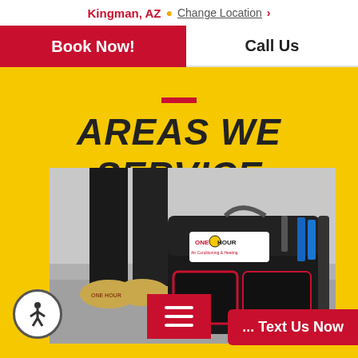Kingman, AZ  Change Location >
Book Now!
Call Us
AREAS WE SERVICE
[Figure (photo): HVAC technician standing next to a black One Hour Air Conditioning & Heating tool bag with red trim, wearing branded shoe covers. The bag prominently displays the One Hour logo.]
... Text Us Now